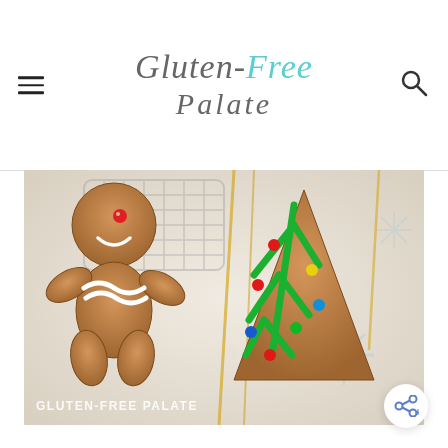Gluten-Free Palate
[Figure (photo): Overhead photo of decorated Christmas gingerbread cookies on a white surface with snowflake decorations. Left side shows a gingerbread man cookie with white icing and a red candy eye. Right side shows a Christmas tree shaped cookie with green icing and colorful candy dots. A cooling rack is partially visible. Watermark text reads GLUTEN-FREE PALATE.]